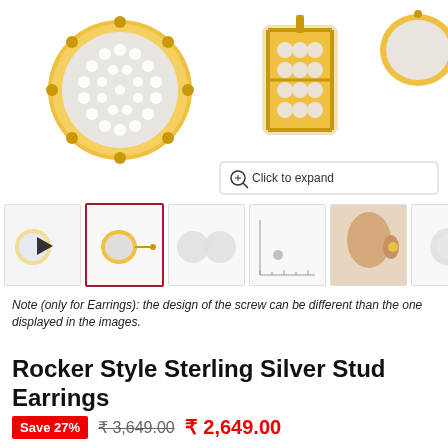[Figure (photo): Close-up product photo of gold stud earrings with diamond/crystal pavé setting, shown from front and side angles on white background]
[Figure (photo): Thumbnail images of earrings: video thumbnail, selected side-view, front-view, measurement/scale image, model wearing earrings, back-view]
Note (only for Earrings): the design of the screw can be different than the one displayed in the images.
Rocker Style Sterling Silver Stud Earrings
Save 27%  ₹3,649.00  ₹2,649.00